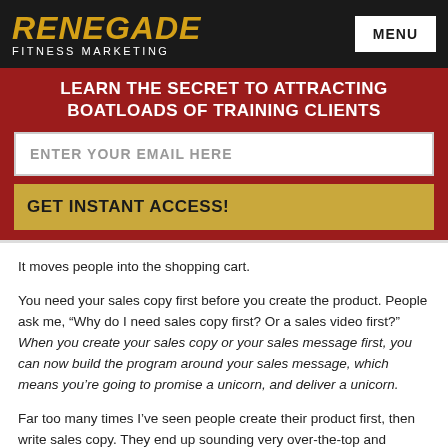RENEGADE FITNESS MARKETING | MENU
LEARN THE SECRET TO ATTRACTING BOATLOADS OF TRAINING CLIENTS
ENTER YOUR EMAIL HERE
GET INSTANT ACCESS!
It moves people into the shopping cart.
You need your sales copy first before you create the product. People ask me, “Why do I need sales copy first? Or a sales video first?” When you create your sales copy or your sales message first, you can now build the program around your sales message, which means you’re going to promise a unicorn, and deliver a unicorn.
Far too many times I’ve seen people create their product first, then write sales copy. They end up sounding very over-the-top and promises shit that is not necessarily within the product.
That results in a high refund rate, focuses on making money and